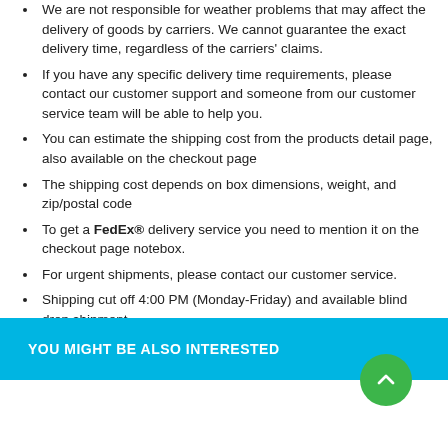We are not responsible for weather problems that may affect the delivery of goods by carriers. We cannot guarantee the exact delivery time, regardless of the carriers' claims.
If you have any specific delivery time requirements, please contact our customer support and someone from our customer service team will be able to help you.
You can estimate the shipping cost from the products detail page, also available on the checkout page
The shipping cost depends on box dimensions, weight, and zip/postal code
To get a FedEx® delivery service you need to mention it on the checkout page notebox.
For urgent shipments, please contact our customer service.
Shipping cut off 4:00 PM (Monday-Friday) and available blind drop shipment.
YOU MIGHT BE ALSO INTERESTED
[Figure (other): Green circular button with upward chevron arrow]